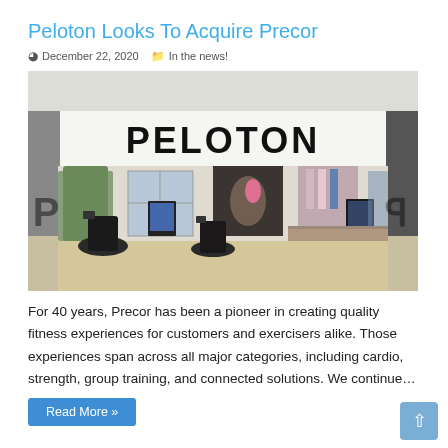Peloton Looks To Acquire Precor
December 22, 2020   In the news!
[Figure (photo): Interior view of a Peloton retail store in a mall, showing the large PELOTON sign above the storefront, exercise bikes on the floor, clothing racks, and display screens.]
For 40 years, Precor has been a pioneer in creating quality fitness experiences for customers and exercisers alike. Those experiences span across all major categories, including cardio, strength, group training, and connected solutions. We continue…
Read More »